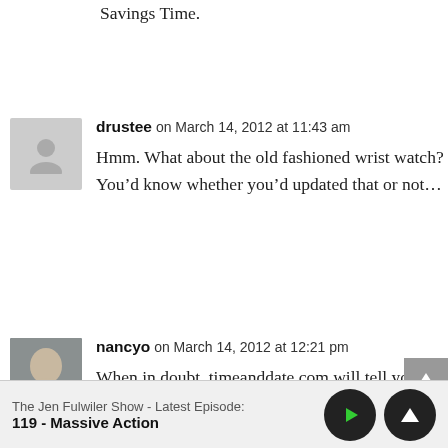Savings Time.
drustee on March 14, 2012 at 11:43 am
Hmm. What about the old fashioned wrist watch? You’d know whether you’d updated that or not…
nancyo on March 14, 2012 at 12:21 pm
When in doubt, timeanddate.com will tell you all. You can click on the “world
The Jen Fulwiler Show - Latest Episode:
119 - Massive Action